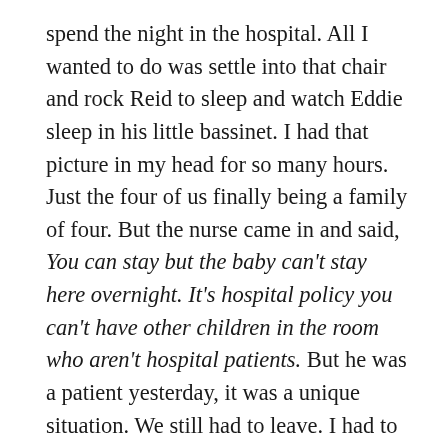spend the night in the hospital. All I wanted to do was settle into that chair and rock Reid to sleep and watch Eddie sleep in his little bassinet. I had that picture in my head for so many hours. Just the four of us finally being a family of four. But the nurse came in and said, You can stay but the baby can't stay here overnight. It's hospital policy you can't have other children in the room who aren't hospital patients. But he was a patient yesterday, it was a unique situation. We still had to leave. I had to take Reid and leave and get him back in the car. It was midnight. At that point the hormones kicked in and I was super-emotional. It was like all the physical pain, fatigue, and hormones came rushing back in that car ride home. But then the next morning we got back and it was the four of us there. We were past all of that unknown stuff. There were months and months and months of not knowing what would happen. And when